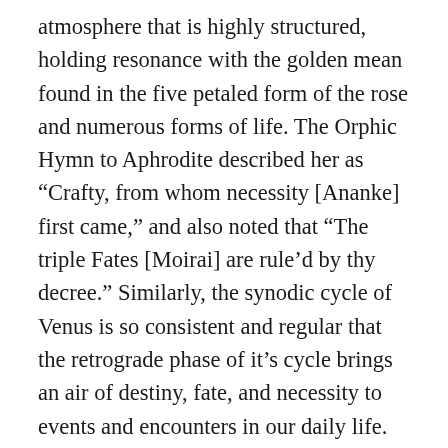atmosphere that is highly structured, holding resonance with the golden mean found in the five petaled form of the rose and numerous forms of life. The Orphic Hymn to Aphrodite described her as “Crafty, from whom necessity [Ananke] first came,” and also noted that “The triple Fates [Moirai] are rule’d by thy decree.” Similarly, the synodic cycle of Venus is so consistent and regular that the retrograde phase of it’s cycle brings an air of destiny, fate, and necessity to events and encounters in our daily life. Venus only goes retrograde once every year and a half or so, five times in it’s eight year synodic cycle with the Sun- eight divided by five is 1.625 and so very close to the sacred 1.618 proportion associated with the golden mean. If you trace the points around